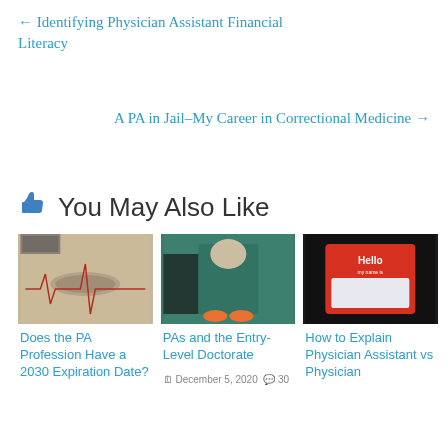← Identifying Physician Assistant Financial Literacy
A PA in Jail–My Career in Correctional Medicine →
👍 You May Also Like
[Figure (photo): Stethoscope on ECG paper on a desk]
Does the PA Profession Have a 2030 Expiration Date?
[Figure (photo): Medical professional in scrubs sitting, with equipment]
PAs and the Entry-Level Doctorate
December 5, 2020 💬 30
[Figure (photo): Hello my name is nametag badge on black background]
How to Explain Physician Assistant vs Physician